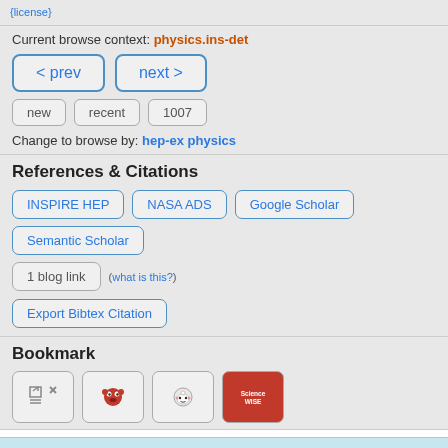{license}
Current browse context: physics.ins-det
< prev
next >
new
recent
1007
Change to browse by: hep-ex physics
References & Citations
INSPIRE HEP
NASA ADS
Google Scholar
Semantic Scholar
1 blog link (what is this?)
Export Bibtex Citation
Bookmark
[Figure (other): Bookmark icons: CiteULike, Mendeley, Reddit, ScienceWISE]